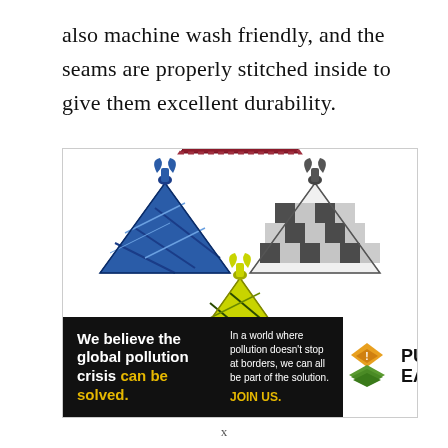also machine wash friendly, and the seams are properly stitched inside to give them excellent durability.
[Figure (photo): Four colorful plaid dog bandanas arranged in a cross pattern: blue plaid (left), maroon/burgundy plaid (top), black and white gingham (right), yellow/green plaid (bottom). Each bandana is tied at the top.]
[Figure (infographic): Pure Earth advertisement banner. Left black section reads: 'We believe the global pollution crisis can be solved.' with yellow highlighted text for 'can be solved.' Right side text: 'In a world where pollution doesn't stop at borders, we can all be part of the solution. JOIN US.' Right white section shows Pure Earth logo with stacked green/orange diamond icon and 'PURE EARTH' text in bold.]
x